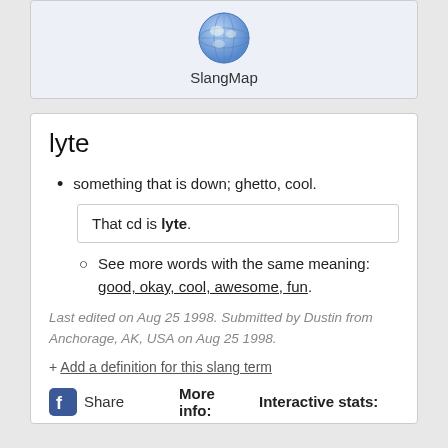[Figure (logo): Globe icon with SlangMap label below]
lyte
something that is down; ghetto, cool.
That cd is lyte.
See more words with the same meaning: good, okay, cool, awesome, fun.
Last edited on Aug 25 1998. Submitted by Dustin from Anchorage, AK, USA on Aug 25 1998.
+ Add a definition for this slang term
Share   More info:   Interactive stats: